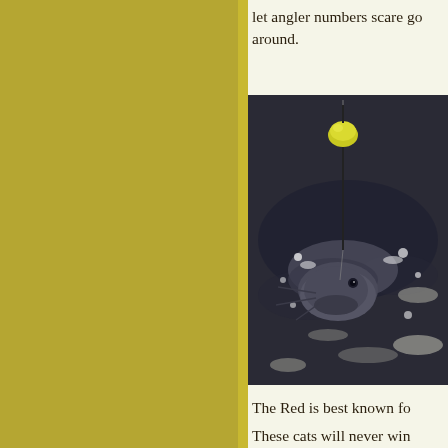[Figure (other): Left page panel with olive/golden-yellow background color]
let angler numbers scare go around.
[Figure (photo): A catfish being caught on a fishing line with a yellow-green bobber/float, the fish visible at the water surface with splashing water around it, dark water background]
The Red is best known fo
These cats will never win